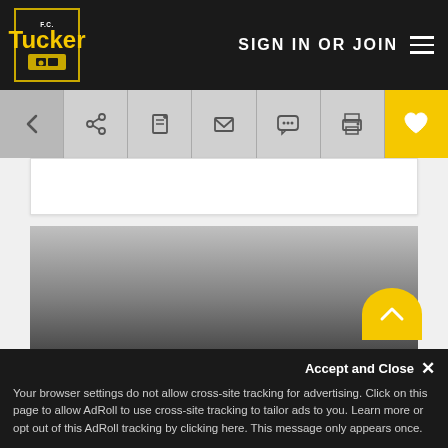SIGN IN OR JOIN
[Figure (screenshot): F.C. Tucker real estate website navigation bar with logo, SIGN IN OR JOIN text, and hamburger menu on dark background]
[Figure (screenshot): Toolbar with back arrow, share, document, email, chat, print, and heart (favorite) icon buttons on light gray background]
[Figure (photo): Evansville-Vanderburgh Schools property listing hero image with gradient from light gray to black, with white text label at bottom]
Evansville-Vanderburgh Schools
Your browser settings do not allow cross-site tracking for advertising. Click on this page to allow AdRoll to use cross-site tracking to tailor ads to you. Learn more or opt out of this AdRoll tracking by clicking here. This message only appears once.